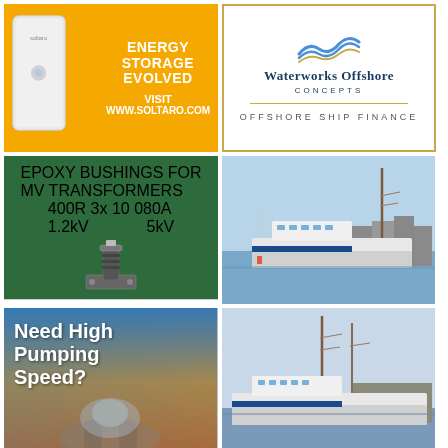[Figure (illustration): Soltaro energy storage unit advertisement on yellow/orange background. Text: ENERGY STORAGE EVOLVED, VISIT WWW.SOLTARO.COM]
[Figure (logo): Waterworks Offshore Concepts logo with wave graphic on white background with gold border. Text: WATERWORKS OFFSHORE CONCEPTS, OFFSHORE SHIP FINANCE]
[Figure (photo): Epoxy bushings for MV transformers advertisement on green background with product photo. Text: EPOXY BUSHINGS FOR MV TRANSFORMERS, 400R 3x 10 080A, 1.2kV...5kV. H-J Family of Companies logo below.]
[Figure (photo): A white ferry/passenger vessel docked at harbor with a tall sailing ship behind it, on a clear day.]
[Figure (photo): Advertisement with sky/hands background. Text: Need High Pumping Speed?]
[Figure (photo): Harbor scene with tall-masted sailing ships and a modern white ferry vessel docked.]